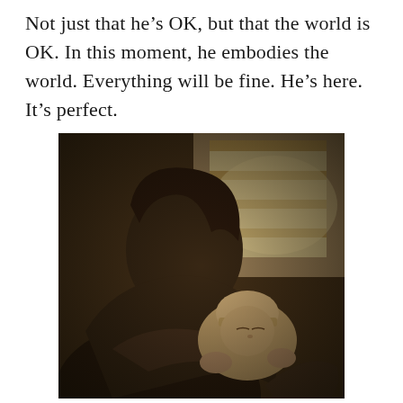Not just that he’s OK, but that the world is OK. In this moment, he embodies the world. Everything will be fine. He’s here. It’s perfect.
[Figure (photo): A sepia-toned black and white photograph of a woman holding and gazing lovingly at a newborn baby. The woman has medium-length hair and is leaning over the infant, who is wearing a small hat. The background shows window blinds letting in soft light.]